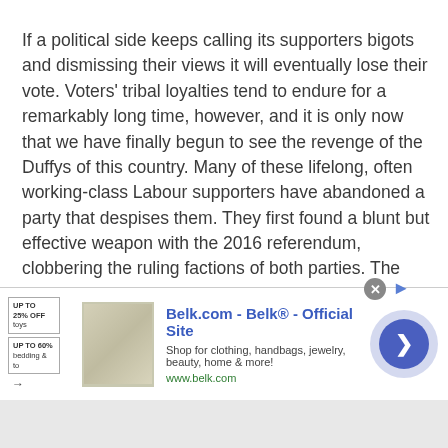If a political side keeps calling its supporters bigots and dismissing their views it will eventually lose their vote. Voters' tribal loyalties tend to endure for a remarkably long time, however, and it is only now that we have finally begun to see the revenge of the Duffys of this country. Many of these lifelong, often working-class Labour supporters have abandoned a party that despises them. They first found a blunt but effective weapon with the 2016 referendum, clobbering the ruling factions of both parties. The importance of this referendum was such that when Labour became unwilling to honour the referendum result, many Labour voters made the once-unthinkable and very reluctant decision to vote for the Conservative Party. It is one thing to
[Figure (other): Advertisement banner for Belk.com - Belk® - Official Site. Shows promotional text 'UP TO 25% OFF toys' and 'UP TO 60% bedding & to', an image of bedding/home goods, the text 'Belk.com - Belk® - Official Site', subtext 'Shop for clothing, handbags, jewelry, beauty, home & more!', URL 'www.belk.com', a close button (x), a right-arrow navigation indicator, and a large circular blue play/forward button on the right.]